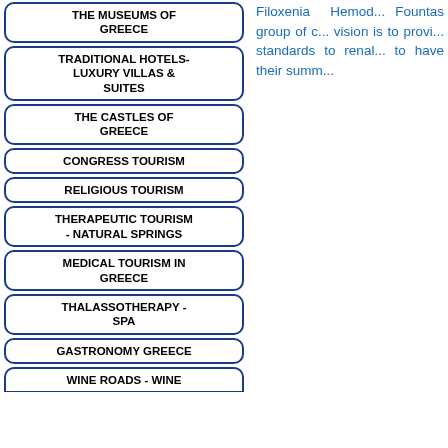THE MUSEUMS OF GREECE
TRADITIONAL HOTELS-LUXURY VILLAS & SUITES
THE CASTLES OF GREECE
CONGRESS TOURISM
RELIGIOUS TOURISM
THERAPEUTIC TOURISM - NATURAL SPRINGS
MEDICAL TOURISM IN GREECE
THALASSOTHERAPY - SPA
GASTRONOMY GREECE
WINE ROADS - WINE
Filoxenia Hemod... Fountas group of c... vision is to provi... standards to renal... to have their summ...